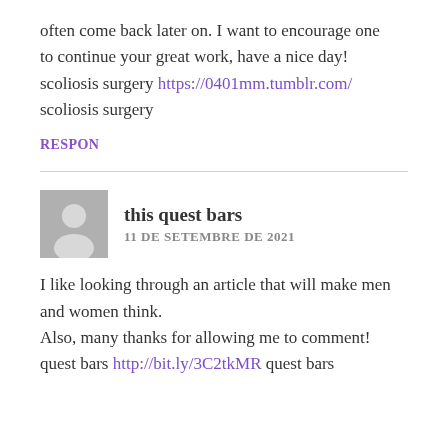often come back later on. I want to encourage one
to continue your great work, have a nice day!
scoliosis surgery https://0401mm.tumblr.com/
scoliosis surgery
RESPON
this quest bars
11 DE SETEMBRE DE 2021
I like looking through an article that will make men and women think.
Also, many thanks for allowing me to comment!
quest bars http://bit.ly/3C2tkMR quest bars